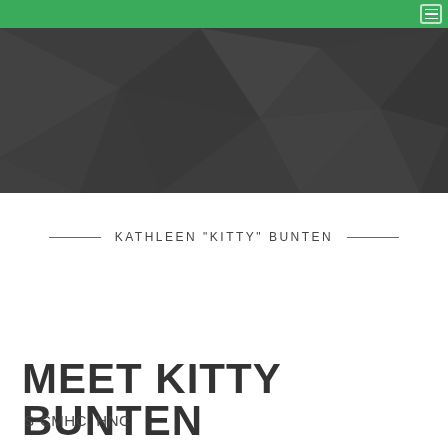[Figure (screenshot): Green navigation bar with hamburger menu icon in top right corner]
[Figure (photo): Dark charcoal-colored geometric polygon pattern hero banner background]
KATHLEEN "KITTY" BUNTEN
MEET KITTY BUNTEN
S-CMHC, HNC